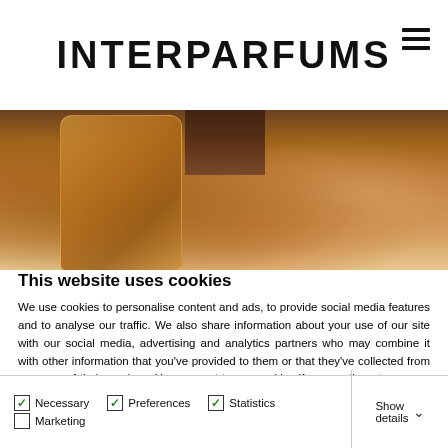INTERPARFUMS
[Figure (photo): Close-up photo of perfume bottles with amber/brown liquid and dark rope-wrapped caps on a light background]
This website uses cookies
We use cookies to personalise content and ads, to provide social media features and to analyse our traffic. We also share information about your use of our site with our social media, advertising and analytics partners who may combine it with other information that you've provided to them or that they've collected from your use of their services. You consent to our cookies if you continue to use our website.
Allow all cookies
Allow selection
Use necessary cookies only
Necessary  Preferences  Statistics  Marketing  Show details